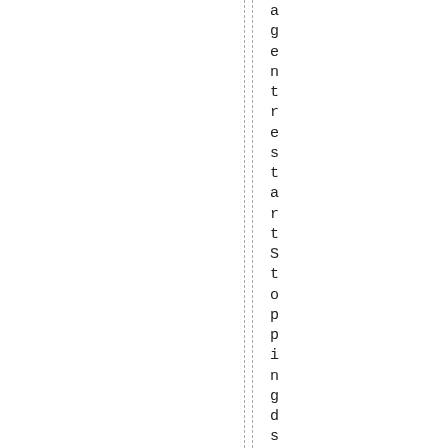agentrestartStoppingds _agent:[